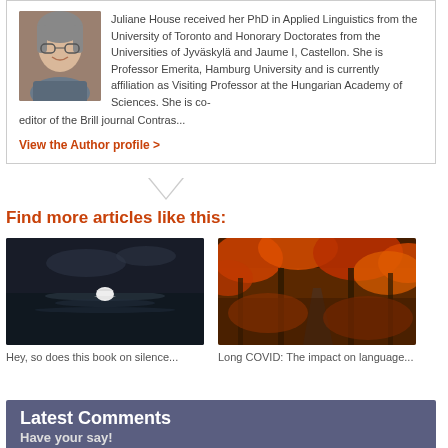Juliane House received her PhD in Applied Linguistics from the University of Toronto and Honorary Doctorates from the Universities of Jyväskylä and Jaume I, Castellon. She is Professor Emerita, Hamburg University and is currently affiliation as Visiting Professor at the Hungarian Academy of Sciences. She is co-editor of the Brill journal Contras...
View the Author profile >
Find more articles like this:
[Figure (photo): Dark water with a white bird or flower in the center]
Hey, so does this book on silence...
[Figure (photo): Autumn forest path with orange foliage]
Long COVID: The impact on language...
Latest Comments
Have your say!